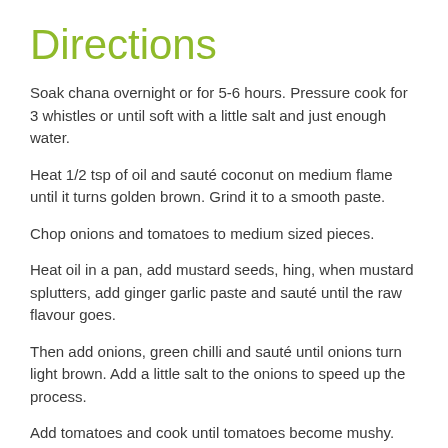Directions
Soak chana overnight or for 5-6 hours. Pressure cook for 3 whistles or until soft with a little salt and just enough water.
Heat 1/2 tsp of oil and sauté coconut on medium flame until it turns golden brown. Grind it to a smooth paste.
Chop onions and tomatoes to medium sized pieces.
Heat oil in a pan, add mustard seeds, hing, when mustard splutters, add ginger garlic paste and sauté until the raw flavour goes.
Then add onions, green chilli and sauté until onions turn light brown. Add a little salt to the onions to speed up the process.
Add tomatoes and cook until tomatoes become mushy.